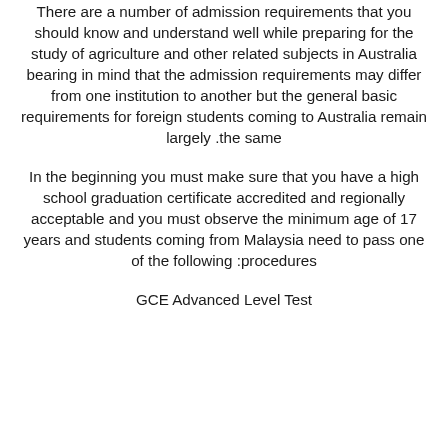There are a number of admission requirements that you should know and understand well while preparing for the study of agriculture and other related subjects in Australia bearing in mind that the admission requirements may differ from one institution to another but the general basic requirements for foreign students coming to Australia remain largely the same.
In the beginning you must make sure that you have a high school graduation certificate accredited and regionally acceptable and you must observe the minimum age of 17 years and students coming from Malaysia need to pass one of the following procedures:
GCE Advanced Level Test